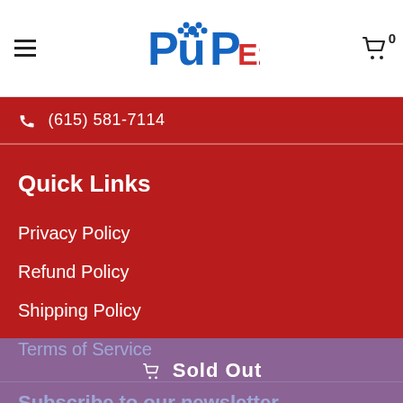PupEz
(615) 581-7114
Quick Links
Privacy Policy
Refund Policy
Shipping Policy
Terms of Service
Subscribe to our newsletter
Subscribe if you are interested in hearing about our upcoming giveaways, new products, discounts, or
Sold Out